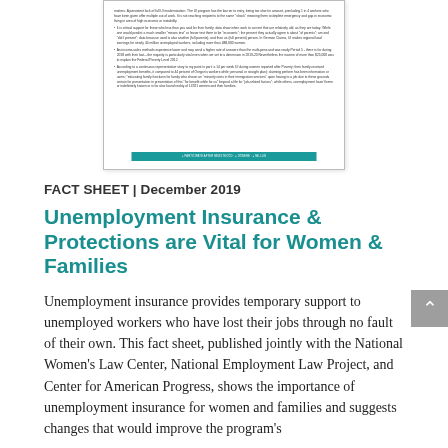[Figure (screenshot): Preview/thumbnail image of a document page showing bullet points of text and a teal bar at the bottom with navigation elements]
FACT SHEET | December 2019
Unemployment Insurance & Protections are Vital for Women & Families
Unemployment insurance provides temporary support to unemployed workers who have lost their jobs through no fault of their own. This fact sheet, published jointly with the National Women’s Law Center, National Employment Law Project, and Center for American Progress, shows the importance of unemployment insurance for women and families and suggests changes that would improve the program’s